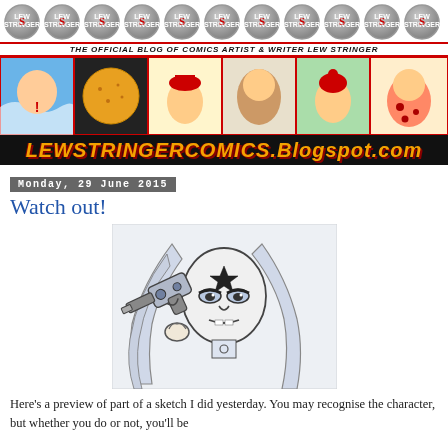THE OFFICIAL BLOG OF COMICS ARTIST & WRITER LEW STRINGER — LEWSTRINGERCOMICS.Blogspot.com
[Figure (illustration): Comic strip panels banner showing various cartoon characters by Lew Stringer]
Monday, 29 June 2015
Watch out!
[Figure (illustration): Sketch of a female character with long hair holding a ray gun, drawn in black and white with blue tones]
Here's a preview of part of a sketch I did yesterday. You may recognise the character, but whether you do or not, you'll be